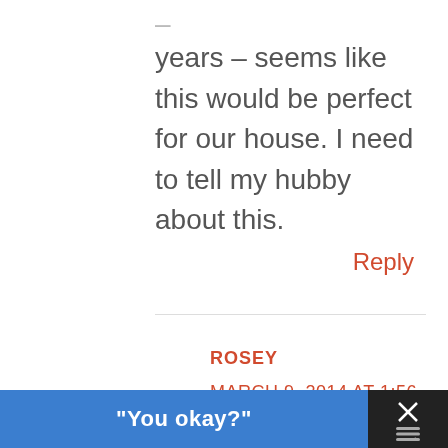years – seems like this would be perfect for our house. I need to tell my hubby about this.
Reply
ROSEY
MARCH 9, 2014 AT 1:56 PM
I like the before and after
"You okay?"